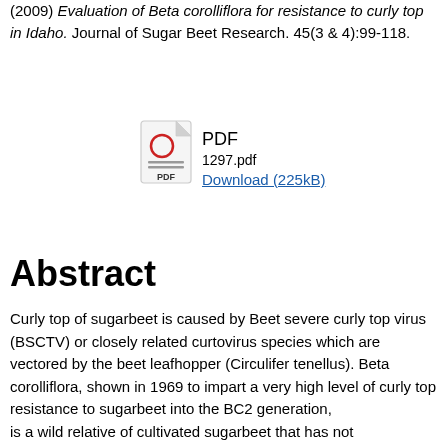(2009) Evaluation of Beta corolliflora for resistance to curly top in Idaho. Journal of Sugar Beet Research. 45(3 & 4):99-118.
[Figure (other): PDF file icon with red circle and PDF label, followed by filename 1297.pdf and a Download (225kB) link]
Abstract
Curly top of sugarbeet is caused by Beet severe curly top virus (BSCTV) or closely related curtovirus species which are vectored by the beet leafhopper (Circulifer tenellus). Beta corolliflora, shown in 1969 to impart a very high level of curly top resistance to sugarbeet into the BC2 generation, is a wild relative of cultivated sugarbeet that has not